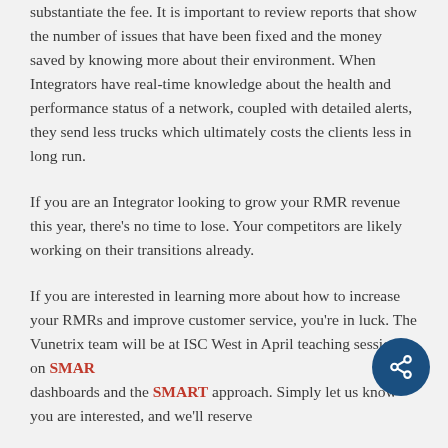substantiate the fee. It is important to review reports that show the number of issues that have been fixed and the money saved by knowing more about their environment. When Integrators have real-time knowledge about the health and performance status of a network, coupled with detailed alerts, they send less trucks which ultimately costs the clients less in long run.
If you are an Integrator looking to grow your RMR revenue this year, there’s no time to lose. Your competitors are likely working on their transitions already.
If you are interested in learning more about how to increase your RMRs and improve customer service, you’re in luck. The Vunetrix team will be at ISC West in April teaching sessions on SMART dashboards and the SMART approach. Simply let us know you are interested, and we’ll reserve